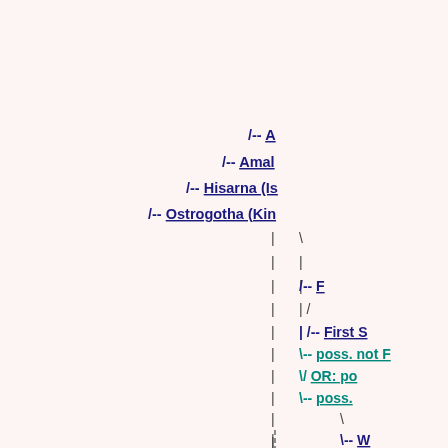[Figure (other): A genealogical/pedigree tree diagram showing partial ancestry with nodes: A..., Amal..., Hisarna (Is...), Ostrogotha (Kin...), F..., First S..., poss. not F..., OR: po..., poss. ..., W... Connected by vertical and diagonal lines indicating descent relationships.]